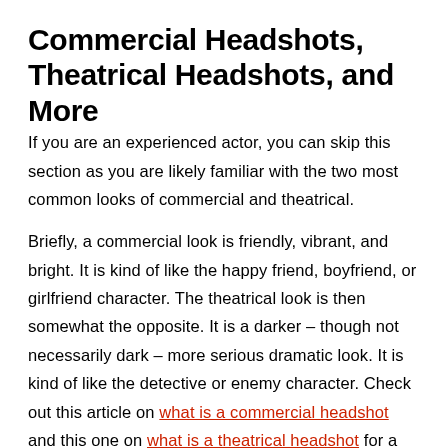Commercial Headshots, Theatrical Headshots, and More
If you are an experienced actor, you can skip this section as you are likely familiar with the two most common looks of commercial and theatrical.
Briefly, a commercial look is friendly, vibrant, and bright. It is kind of like the happy friend, boyfriend, or girlfriend character. The theatrical look is then somewhat the opposite. It is a darker – though not necessarily dark – more serious dramatic look. It is kind of like the detective or enemy character. Check out this article on what is a commercial headshot and this one on what is a theatrical headshot for a deeper